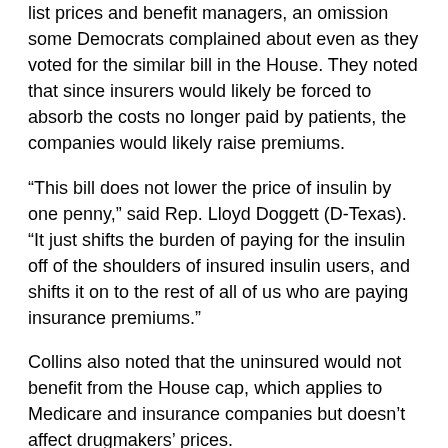list prices and benefit managers, an omission some Democrats complained about even as they voted for the similar bill in the House. They noted that since insurers would likely be forced to absorb the costs no longer paid by patients, the companies would likely raise premiums.
“This bill does not lower the price of insulin by one penny,” said Rep. Lloyd Doggett (D-Texas). “It just shifts the burden of paying for the insulin off of the shoulders of insured insulin users, and shifts it on to the rest of all of us who are paying insurance premiums.”
Collins also noted that the uninsured would not benefit from the House cap, which applies to Medicare and insurance companies but doesn’t affect drugmakers’ prices.
“It doesn’t help someone who’s uninsured,” Collins said. “When you address the high list price, then it’s going to help more people.”